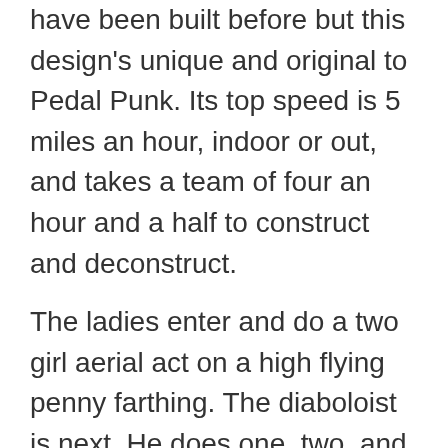have been built before but this design's unique and original to Pedal Punk. Its top speed is 5 miles an hour, indoor or out, and takes a team of four an hour and a half to construct and deconstruct.
The ladies enter and do a two girl aerial act on a high flying penny farthing. The diaboloist is next. He does one, two, and three diabolo's including excalibur with one, numerous suicides and suns with two and very low columns, and shower and shuffle with three rolled off their scaffolding from thirty feet up.
Hula hoop girl followed by unicycle duo are next and both are quite innovative. In fact, each